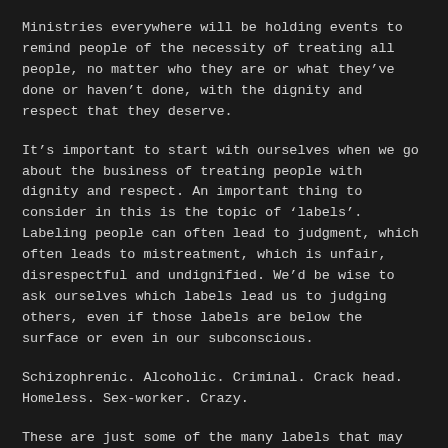Ministries everywhere will be holding events to remind people of the necessity of treating all people, no matter who they are or what they've done or haven't done, with the dignity and respect that they deserve.
It's important to start with ourselves when we go about the business of treating people with dignity and respect. An important thing to consider in this is the topic of 'labels'. Labeling people can often lead to judgment, which often leads to mistreatment, which is unfair, disrespectful and undignified. We'd be wise to ask ourselves which labels lead us to judging others, even if those labels are below the surface or even in our subconscious.
Schizophrenic. Alcoholic. Criminal. Crack head. Homeless. Sex-worker. Crazy.
These are just some of the many labels that may get in the way of us treating the people that come through our doors as human beings; as equals. How does it feel when we ourselves are discriminated against by being labeled?